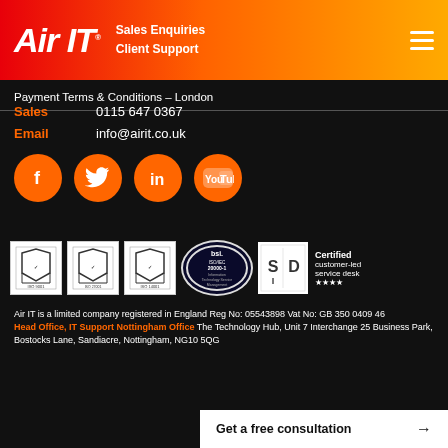Air IT | Sales Enquiries | Client Support
Payment Terms & Conditions – London
Sales   0115 647 0367
Email   info@airit.co.uk
[Figure (infographic): Four orange circular social media icons: Facebook, Twitter, LinkedIn, YouTube]
[Figure (infographic): Row of certification badges: three ISO badges (ISO 9001, ISO 27001, ISO 14001), BSI ISO/IEC 20000-1, SDI Certified customer-led service desk 4 stars]
Air IT is a limited company registered in England Reg No: 05543898 Vat No: GB 350 0409 46 Head Office, IT Support Nottingham Office The Technology Hub, Unit 7 Interchange 25 Business Park, Bostocks Lane, Sandiacre, Nottingham, NG10 5QG
Get a free consultation →